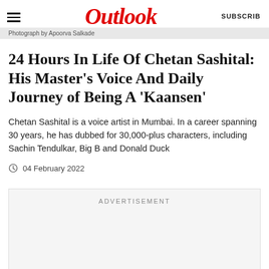Outlook
Photograph by Apoorva Salkade
24 Hours In Life Of Chetan Sashital: His Master's Voice And Daily Journey of Being A 'Kaansen'
Chetan Sashital is a voice artist in Mumbai. In a career spanning 30 years, he has dubbed for 30,000-plus characters, including Sachin Tendulkar, Big B and Donald Duck
04 February 2022
[Figure (other): Advertisement placeholder box]